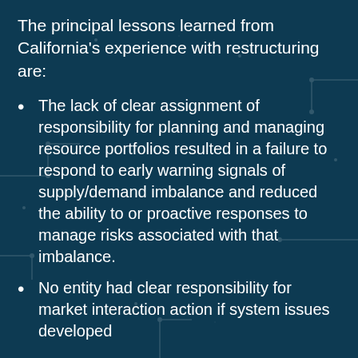The principal lessons learned from California's experience with restructuring are:
The lack of clear assignment of responsibility for planning and managing resource portfolios resulted in a failure to respond to early warning signals of supply/demand imbalance and reduced the ability to or proactive responses to manage risks associated with that imbalance.
No entity had clear responsibility for market interaction action if system issues developed